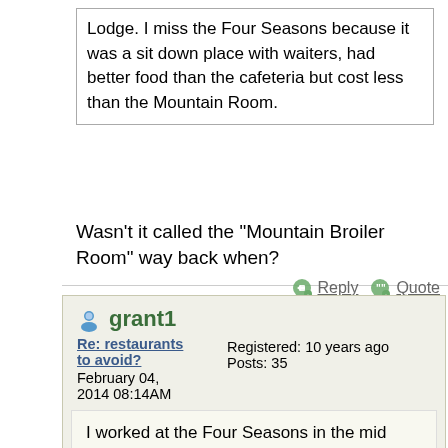Lodge. I miss the Four Seasons because it was a sit down place with waiters, had better food than the cafeteria but cost less than the Mountain Room.
Wasn't it called the "Mountain Broiler Room" way back when?
Reply   Quote
grant1
Re: restaurants to avoid?   Registered: 10 years ago   Posts: 35   February 04, 2014 08:14AM
I worked at the Four Seasons in the mid seventies .If you had seniority you could hope to move up to the Mountain Broiler Room.